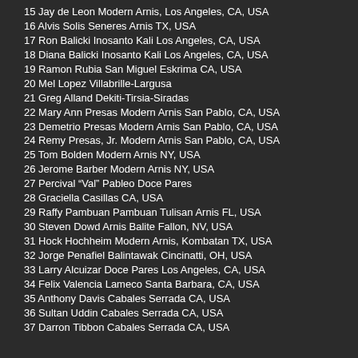15 Jay de Leon Modern Arnis, Los Angeles, CA, USA
16 Alvis Solis Seneres Arnis TX, USA
17 Ron Balicki Inosanto Kali Los Angeles, CA, USA
18 Diana Balicki Inosanto Kali Los Angeles, CA, USA
19 Ramon Rubia San Miguel Eskrima CA, USA
20 Mel Lopez Villabrille-Largusa
21 Greg Alland Dekiti-Tirsia-Siradas
22 Mary Ann Presas Modern Arnis San Pablo, CA, USA
23 Demetrio Presas Modern Arnis San Pablo, CA, USA
24 Remy Presas, Jr. Modern Arnis San Pablo, CA, USA
25 Tom Bolden Modern Arnis NY, USA
26 Jerome Barber Modern Arnis NY, USA
27 Percival “Val” Pableo Doce Pares
28 Graciella Casillas CA, USA
29 Raffy Pambuan Pambuan Tulisan Arnis FL, USA
30 Steven Dowd Arnis Balite Fallon, NV, USA
31 Hock Hochheim Modern Arnis, Kombatan TX, USA
32 Jorge Penafiel Balintawak Cincinatti, OH, USA
33 Larry Alcuizar Doce Pares Los Angeles, CA, USA
34 Felix Valencia Lameco Santa Barbara, CA, USA
35 Anthony Davis Cabales Serrada CA, USA
36 Sultan Uddin Cabales Serrada CA, USA
37 Darron Tibbon Cabales Serrada CA, USA